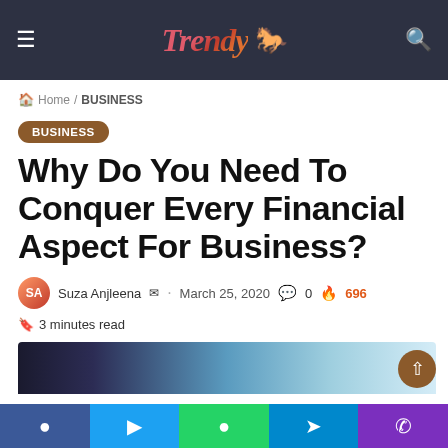Trendy [logo with mascot figure]
Home / BUSINESS
BUSINESS
Why Do You Need To Conquer Every Financial Aspect For Business?
Suza Anjleena · March 25, 2020 · 0 · 696
3 minutes read
[Figure (photo): Article thumbnail image showing a dark to light blue gradient]